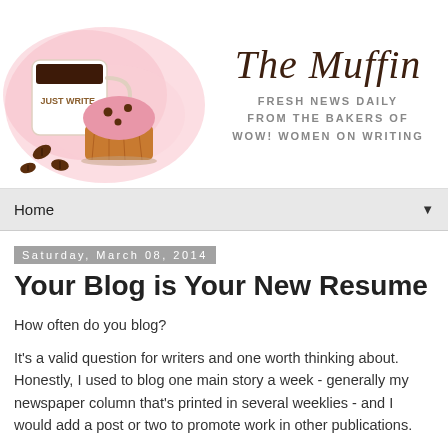[Figure (illustration): Illustrated logo banner showing a coffee mug labeled 'JUST WRITE' and a muffin on a pink watercolor splash background, with coffee beans scattered around. To the right: cursive text 'The Muffin' in dark brown, and below it 'FRESH NEWS DAILY FROM THE BAKERS OF WOW! WOMEN ON WRITING' in grey spaced uppercase letters.]
Home ▼
Saturday, March 08, 2014
Your Blog is Your New Resume
How often do you blog?
It's a valid question for writers and one worth thinking about. Honestly, I used to blog one main story a week - generally my newspaper column that's printed in several weeklies - and I would add a post or two to promote work in other publications.
I didn't have the time to blog daily because, here goes...I feel